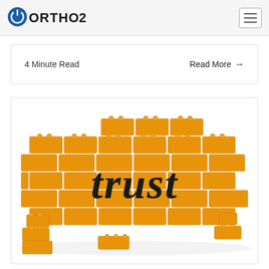ORTHO2
4 Minute Read
Read More →
[Figure (photo): Orange LEGO-style bricks arranged into a wall with the word 'trust' spelled out in black graffiti-style lettering across the middle, with loose bricks scattered at the base on a white background.]